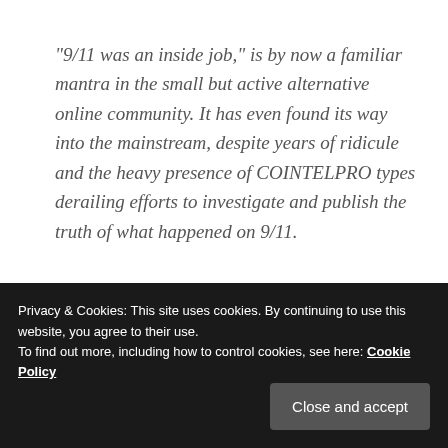“9/11 was an inside job,” is by now a familiar mantra in the small but active alternative online community. It has even found its way into the mainstream, despite years of ridicule and the heavy presence of COINTELPRO types derailing efforts to investigate and publish the truth of what happened on 9/11.
So, was it really an ‘inside job’?
[obscured text below cookie banner]
Privacy & Cookies: This site uses cookies. By continuing to use this website, you agree to their use.
To find out more, including how to control cookies, see here: Cookie Policy